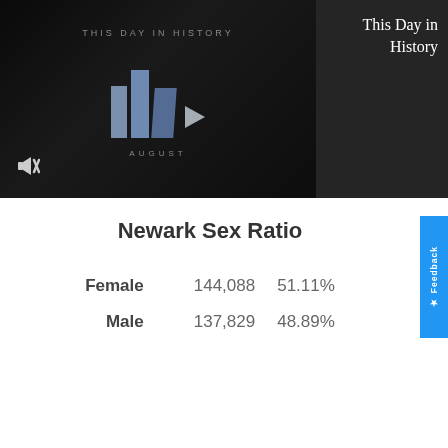[Figure (screenshot): Video thumbnail showing 'This Day in History' with play icon and three blue bars, dark background, August label at bottom, mute icon at bottom left]
This Day in History
Newark Sex Ratio
| Category | Count | Percentage |
| --- | --- | --- |
| Female | 144,088 | 51.11% |
| Male | 137,829 | 48.89% |
Newark Households and Families
Show Sources